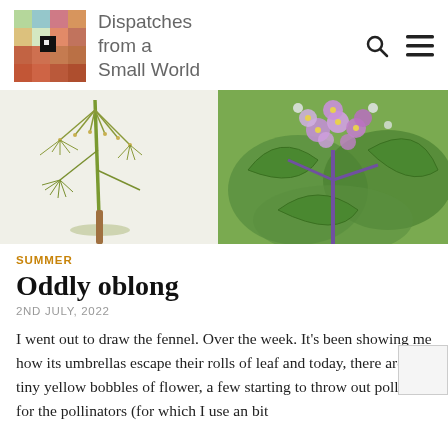Dispatches from a Small World
[Figure (illustration): Two botanical illustrations side by side: left shows fennel with its umbrella-like flower head and delicate stems on a light background; right shows a hydrangea or similar plant with purple/pink flowers and green leaves on a green background.]
SUMMER
Oddly oblong
2ND JULY, 2022
I went out to draw the fennel. Over the week. It's been showing me how its umbrellas escape their rolls of leaf and today, there are tiny yellow bobbles of flower, a few starting to throw out pollen for the pollinators (for which I use an bit